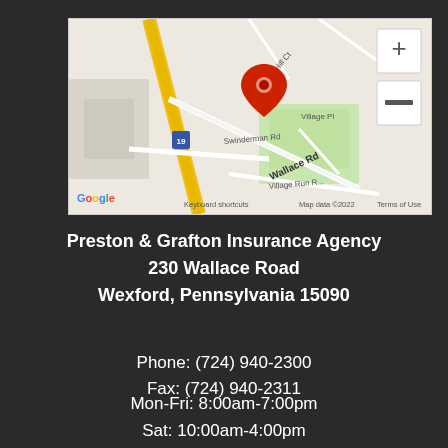[Figure (map): Google Maps screenshot showing location pin on Wallace Rd near Swinderman Rd and Village Run Rd in Wexford PA. Shows street names: Wallace Rd, Swinderman Rd, Village Pl, Village Run Rd, Route 19. Google logo and map attribution visible. Zoom controls (+/-) on right side.]
Preston & Grafton Insurance Agency
230 Wallace Road
Wexford, Pennsylvania 15090
Phone: (724) 940-2300
Fax: (724) 940-2311
Mon-Fri: 8:00am-7:00pm
Sat: 10:00am-4:00pm